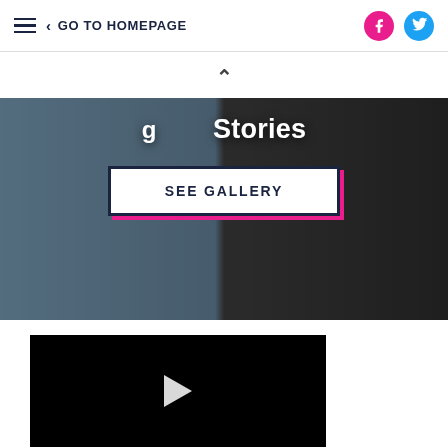GO TO HOMEPAGE
[Figure (photo): Hero image split in two: left half shows a person in a blue hoodie jacket (before), right half shows a person in dark athletic wear (after). Text overlay reads 'Stories' with a 'SEE GALLERY' button.]
[Figure (screenshot): Video player thumbnail showing a black rectangle with a white play button triangle in the center.]